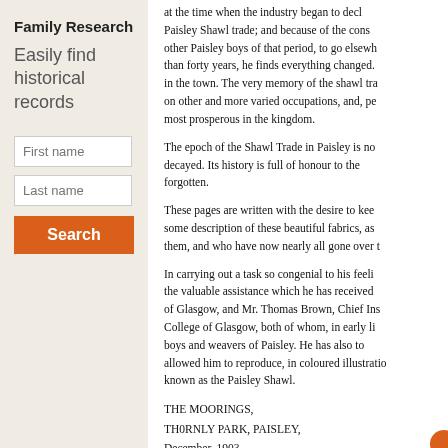Family Research
Easily find historical records
at the time when the industry began to decl Paisley Shawl trade; and because of the cons other Paisley boys of that period, to go elsewh than forty years, he finds everything changed. in the town. The very memory of the shawl tra on other and more varied occupations, and, pe most prosperous in the kingdom.
The epoch of the Shawl Trade in Paisley is no decayed. Its history is full of honour to the forgotten.
These pages are written with the desire to kee some description of these beautiful fabrics, as them, and who have now nearly all gone over t
In carrying out a task so congenial to his feeli the valuable assistance which he has received of Glasgow, and Mr. Thomas Brown, Chief Insp College of Glasgow, both of whom, in early li boys and weavers of Paisley. He has also to allowed him to reproduce, in coloured illustrati known as the Paisley Shawl.
THE MOORINGS,
TH0RNLY PARK, PAISLEY,
December, 1903.